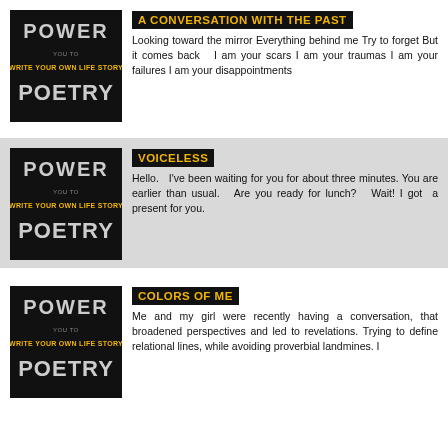[Figure (logo): Power Poetry logo - black background with stylized text POWER WRITE YOUR OWN LIFE STORY POETRY in white and yellow]
A CONVERSATION WITH THE PAST
Looking toward the mirror Everything behind me Try to forget But it comes back   I am your scars I am your traumas I am your failures I am your disappointments
[Figure (logo): Power Poetry logo - black background with stylized text POWER WRITE YOUR OWN LIFE STORY POETRY in white and yellow]
VOICELESS
Hello.   I've been waiting for you for about three minutes. You are earlier than usual.   Are you ready for lunch?   Wait! I got  a present for you.
[Figure (logo): Power Poetry logo - black background with stylized text POWER WRITE YOUR OWN LIFE STORY POETRY in white and yellow]
COLORS OF ME
Me and my girl were recently having a conversation, that broadened perspectives and led to revelations. Trying to define relational lines, while avoiding proverbial landmines. I